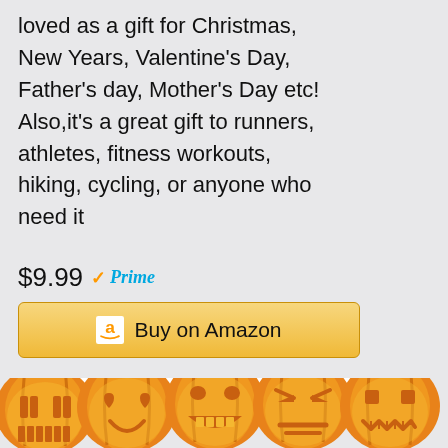loved as a gift for Christmas, New Years, Valentine's Day, Father's day, Mother's Day etc! Also,it's a great gift to runners, athletes, fitness workouts, hiking, cycling, or anyone who need it
$9.99 Prime
[Figure (screenshot): Buy on Amazon button with Amazon logo]
[Figure (photo): Five jack-o-lantern pumpkin emojis with different carved faces, arranged in a row at the bottom of the page, partially cropped. A pink and teal product is partially visible behind them.]